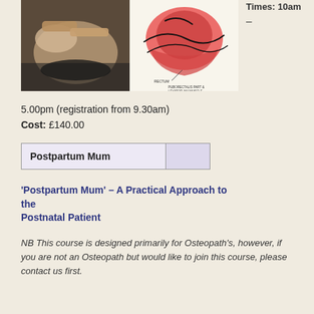[Figure (photo): Two-panel image: left shows hands performing osteopathic treatment on a person; right shows an anatomical illustration of pelvic floor muscles including rectum, puborectalis part, and levator ani muscle.]
Times: 10am –
5.00pm (registration from 9.30am)
Cost: £140.00
| Postpartum Mum |  |
'Postpartum Mum' – A Practical Approach to the Postnatal Patient
NB This course is designed primarily for Osteopath's, however, if you are not an Osteopath but would like to join this course, please contact us first.